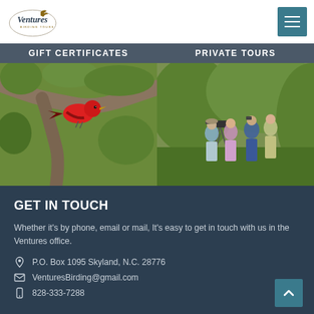[Figure (logo): Ventures Birding Tours logo with bird silhouette]
[Figure (other): Navigation menu button (hamburger icon) in teal]
GIFT CERTIFICATES | PRIVATE TOURS
[Figure (photo): Red bird (Scarlet Tanager) perched on a tree branch with green foliage background]
[Figure (photo): Group of birdwatchers using binoculars and spotting scope in a green hillside setting]
GET IN TOUCH
Whether it's by phone, email or mail, It's easy to get in touch with us in the Ventures office.
P.O. Box 1095 Skyland, N.C. 28776
VenturesBirding@gmail.com
828-333-7288